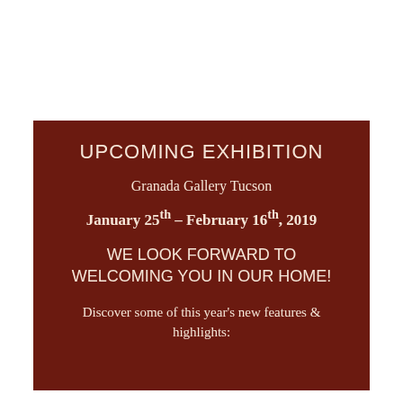UPCOMING EXHIBITION
Granada Gallery Tucson
January 25th – February 16th, 2019
WE LOOK FORWARD TO WELCOMING YOU IN OUR HOME!
Discover some of this year's new features & highlights: